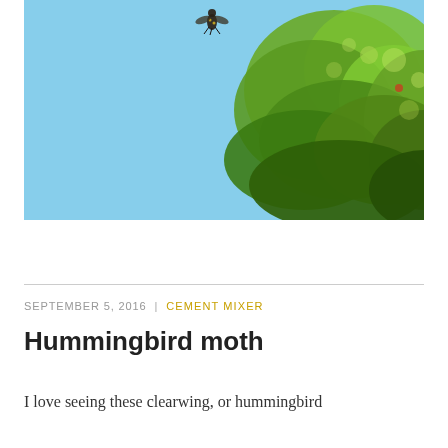[Figure (photo): Outdoor photograph showing a hummingbird moth in flight against a bright blue sky, with green tree foliage visible in the upper right corner]
SEPTEMBER 5, 2016  |  CEMENT MIXER
Hummingbird moth
I love seeing these clearwing, or hummingbird moths, they are so...